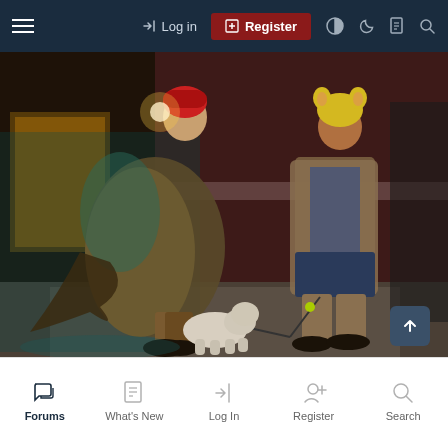[Figure (screenshot): Website screenshot showing a dark navy top navigation bar with hamburger menu, Log in link, Register button (dark red), and icon buttons (theme toggle, moon, document, search). Below is a large street photography image of two people and a dog on a sidewalk at night — one person wearing a red beanie and carrying a large blanket/sleeping bag, the other wearing a yellow animal hat and denim jacket walking a small white dog. Below the photo is a scroll-to-top button and a white bottom navigation bar with icons and labels: Forums (active), What's New, Log In, Register, Search.]